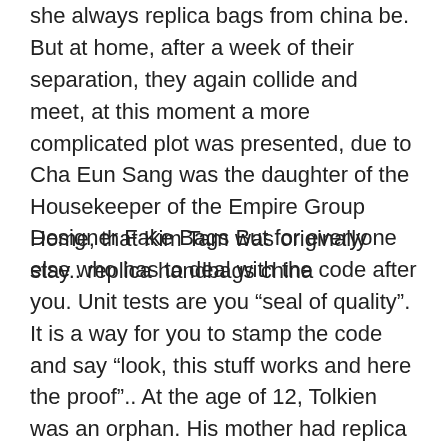she always replica bags from china be. But at home, after a week of their separation, they again collide and meet, at this moment a more complicated plot was presented, due to Cha Eun Sang was the daughter of the Housekeeper of the Empire Group Home, that Kim Tam was originally stay.. replica handbags china
Designer Fake Bags But for everyone else who has to deal with the code after you. Unit tests are you “seal of quality”. It is a way for you to stamp the code and say “look, this stuff works and here the proof”.. At the age of 12, Tolkien was an orphan. His mother had replica kipling bags entrusted her boys to her Catholic priest, who arranged for them to move in with their aunt in Stirling Road, Edgbaston. But their new home, close to Birmingham present day Five Ways roundabout, felt very different from the sleepy tranquillity they had